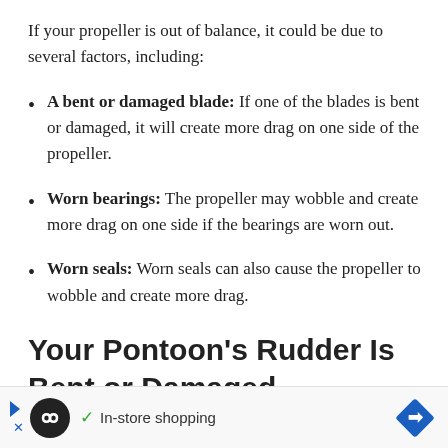If your propeller is out of balance, it could be due to several factors, including:
A bent or damaged blade: If one of the blades is bent or damaged, it will create more drag on one side of the propeller.
Worn bearings: The propeller may wobble and create more drag on one side if the bearings are worn out.
Worn seals: Worn seals can also cause the propeller to wobble and create more drag.
Your Pontoon's Rudder Is Bent or Damaged
[Figure (other): Advertisement bar with circular logo, checkmark, 'In-store shopping' text, and blue diamond arrow icon]